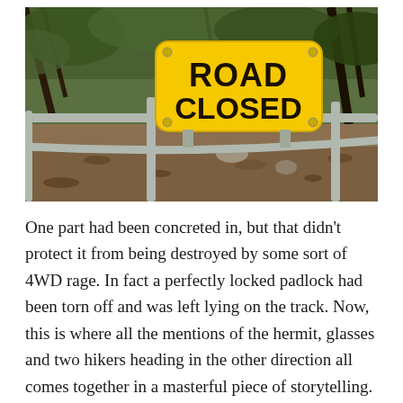[Figure (photo): Photograph of a yellow 'ROAD CLOSED' sign attached to a metal gate/barrier, set against a background of dry bush, dead leaves, and scrubby trees.]
One part had been concreted in, but that didn't protect it from being destroyed by some sort of 4WD rage. In fact a perfectly locked padlock had been torn off and was left lying on the track. Now, this is where all the mentions of the hermit, glasses and two hikers heading in the other direction all comes together in a masterful piece of storytelling. Storytelling? Is that one word or two?